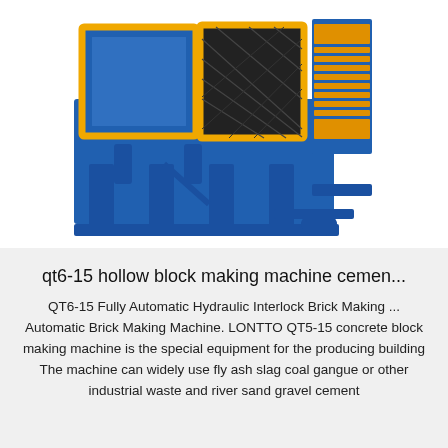[Figure (photo): A large industrial block-making machine with a blue steel frame and yellow/orange safety guards and mesh panels. The machine has hydraulic columns, a pressing mechanism, and stacking/output trays on the right side.]
qt6-15 hollow block making machine cemen...
QT6-15 Fully Automatic Hydraulic Interlock Brick Making ... Automatic Brick Making Machine. LONTTO QT5-15 concrete block making machine is the special equipment for the producing building The machine can widely use fly ash slag coal gangue or other industrial waste and river sand gravel cement